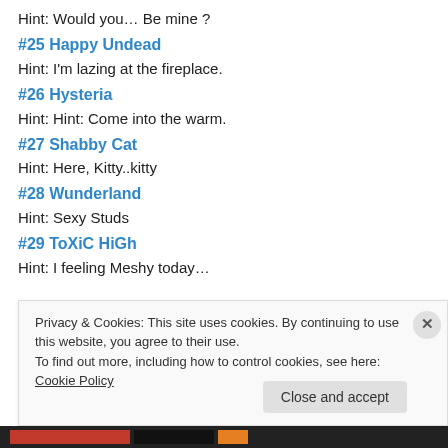Hint: Would you… Be mine ?
#25 Happy Undead
Hint: I'm lazing at the fireplace.
#26 Hysteria
Hint: Hint: Come into the warm.
#27 Shabby Cat
Hint: Here, Kitty..kitty
#28 Wunderland
Hint: Sexy Studs
#29 ToXiC HiGh
Hint: I feeling Meshy today…
Privacy & Cookies: This site uses cookies. By continuing to use this website, you agree to their use.
To find out more, including how to control cookies, see here: Cookie Policy